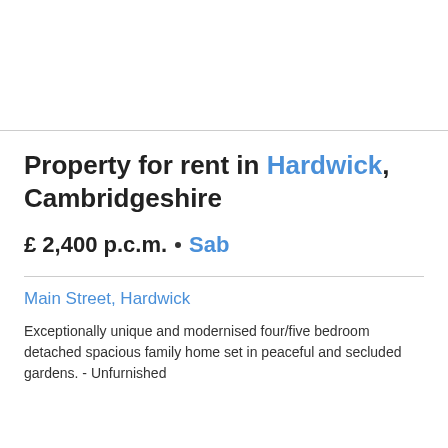Property for rent in Hardwick, Cambridgeshire
£2,400 p.c.m. • Sab
Main Street, Hardwick
Exceptionally unique and modernised four/five bedroom detached spacious family home set in peaceful and secluded gardens. - Unfurnished